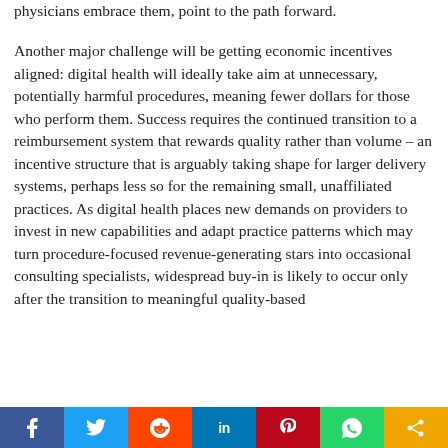physicians embrace them, point to the path forward.
Another major challenge will be getting economic incentives aligned: digital health will ideally take aim at unnecessary, potentially harmful procedures, meaning fewer dollars for those who perform them. Success requires the continued transition to a reimbursement system that rewards quality rather than volume – an incentive structure that is arguably taking shape for larger delivery systems, perhaps less so for the remaining small, unaffiliated practices. As digital health places new demands on providers to invest in new capabilities and adapt practice patterns which may turn procedure-focused revenue-generating stars into occasional consulting specialists, widespread buy-in is likely to occur only after the transition to meaningful quality-based
[Figure (other): Social media sharing bar with icons for Facebook, Twitter, Reddit, LinkedIn, Pinterest, WhatsApp, and a generic share button]